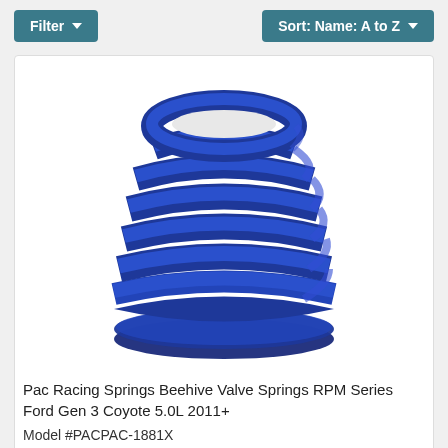Filter ▼    Sort: Name: A to Z ▼
[Figure (photo): Blue coil valve spring (beehive style) — PAC Racing Springs Beehive Valve Springs RPM Series, photographed on white background]
Pac Racing Springs Beehive Valve Springs RPM Series Ford Gen 3 Coyote 5.0L 2011+
Model #PACPAC-1881X